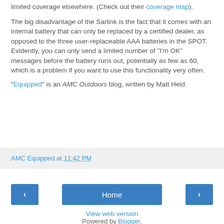limited coverage elsewhere. (Check out their coverage map).
The big disadvantage of the Sarlink is the fact that it comes with an internal battery that can only be replaced by a certified dealer, as opposed to the three user-replaceable AAA batteries in the SPOT. Evidently, you can only send a limited number of "I'm OK" messages before the battery runs out, potentially as few as 60, which is a problem if you want to use this functionality very often.
"Equipped" is an AMC Outdoors blog, written by Matt Heid.
AMC Equipped at 11:42 PM
Home
View web version
Powered by Blogger.